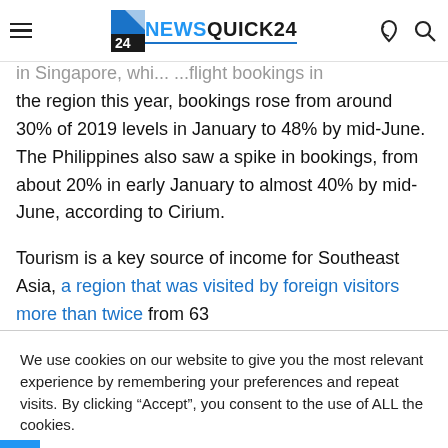NewsQuick24 navigation header with hamburger menu, logo, moon icon, and search icon
in Singapore, whi... ...flight bookings in the region this year, bookings rose from around 30% of 2019 levels in January to 48% by mid-June. The Philippines also saw a spike in bookings, from about 20% in early January to almost 40% by mid-June, according to Cirium.
Tourism is a key source of income for Southeast Asia, a region that was visited by foreign visitors more than twice from 63
We use cookies on our website to give you the most relevant experience by remembering your preferences and repeat visits. By clicking “Accept”, you consent to the use of ALL the cookies.
Do not sell my personal information.